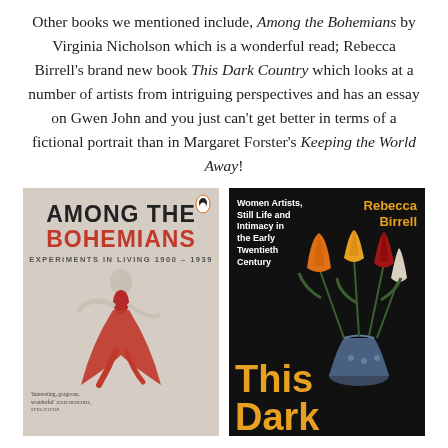Other books we mentioned include, Among the Bohemians by Virginia Nicholson which is a wonderful read; Rebecca Birrell's brand new book This Dark Country which looks at a number of artists from intriguing perspectives and has an essay on Gwen John and you just can't get better in terms of a fictional portrait than in Margaret Forster's Keeping the World Away!
[Figure (illustration): Book cover of 'Among the Bohemians: Experiments in Living 1900-1939' by Virginia Nicholson, showing a woman in a red dress dancing, with a Penguin Books logo at top right. Quote: 'Interesting, gorgeous, wonderful' JULIE BURCHILL, SPECTATOR]
[Figure (illustration): Book cover of 'This Dark Country' by Rebecca Birrell, subtitled 'Women Artists, Still Life and Intimacy in the Early Twentieth Century'. Dark background with orange/yellow tulips in a painted vase. Author name in orange at top right. Title 'This Dark' in large orange text at bottom.]